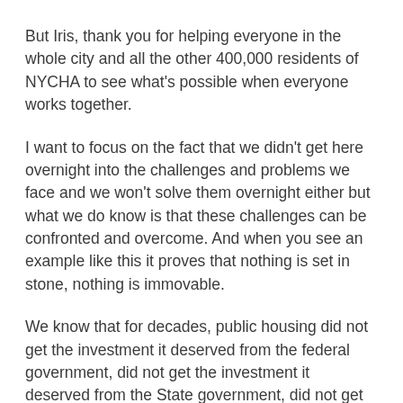But Iris, thank you for helping everyone in the whole city and all the other 400,000 residents of NYCHA to see what's possible when everyone works together.
I want to focus on the fact that we didn't get here overnight into the challenges and problems we face and we won't solve them overnight either but what we do know is that these challenges can be confronted and overcome. And when you see an example like this it proves that nothing is set in stone, nothing is immovable.
We know that for decades, public housing did not get the investment it deserved from the federal government, did not get the investment it deserved from the State government, did not get the attention it deserved from the City of New York.
NYCHA is its own entity, its own organization but it